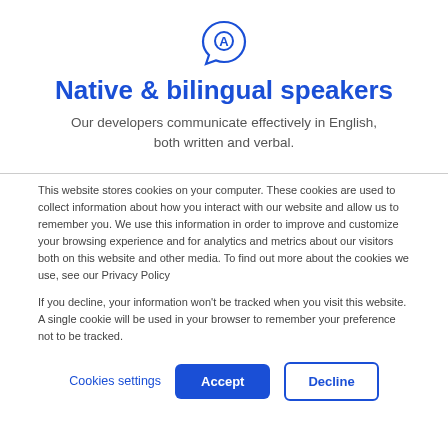[Figure (logo): Blue speech bubble icon with letter A inside, representing a language/communication service logo]
Native & bilingual speakers
Our developers communicate effectively in English, both written and verbal.
This website stores cookies on your computer. These cookies are used to collect information about how you interact with our website and allow us to remember you. We use this information in order to improve and customize your browsing experience and for analytics and metrics about our visitors both on this website and other media. To find out more about the cookies we use, see our Privacy Policy
If you decline, your information won't be tracked when you visit this website. A single cookie will be used in your browser to remember your preference not to be tracked.